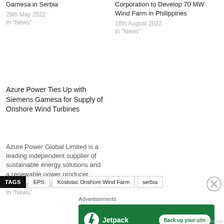Gamesa in Serbia
26th May 2022
In "News"
Corporation to Develop 70 MW Wind Farm in Philippines
16th August 2022
In "News"
Azure Power Ties Up with Siemens Gamesa for Supply of Onshore Wind Turbines
Azure Power Global Limited is a leading independent supplier of sustainable energy solutions and a renewable power producer
13th August 2022
In "News"
TAGS  EPS  Kostolac Onshore Wind Farm  serbia
Advertisements
[Figure (other): Jetpack advertisement banner with logo and 'Back up your site' button on green background]